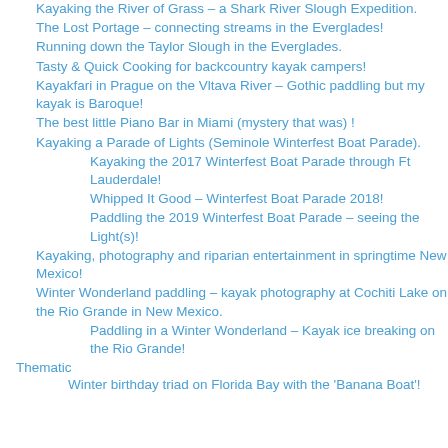Kayaking the River of Grass – a Shark River Slough Expedition.
The Lost Portage – connecting streams in the Everglades!
Running down the Taylor Slough in the Everglades.
Tasty & Quick Cooking for backcountry kayak campers!
Kayakfari in Prague on the Vltava River – Gothic paddling but my kayak is Baroque!
The best little Piano Bar in Miami (mystery that was) !
Kayaking a Parade of Lights (Seminole Winterfest Boat Parade).
Kayaking the 2017 Winterfest Boat Parade through Ft Lauderdale!
Whipped It Good – Winterfest Boat Parade 2018!
Paddling the 2019 Winterfest Boat Parade – seeing the Light(s)!
Kayaking, photography and riparian entertainment in springtime New Mexico!
Winter Wonderland paddling – kayak photography at Cochiti Lake on the Rio Grande in New Mexico.
Paddling in a Winter Wonderland – Kayak ice breaking on the Rio Grande!
Thematic
Winter birthday triad on Florida Bay with the 'Banana Boat'!